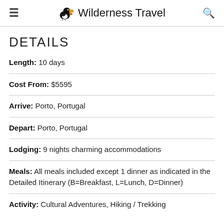≡ Wilderness Travel 🔍
DETAILS
Length: 10 days
Cost From: $5595
Arrive: Porto, Portugal
Depart: Porto, Portugal
Lodging: 9 nights charming accommodations
Meals: All meals included except 1 dinner as indicated in the Detailed Itinerary (B=Breakfast, L=Lunch, D=Dinner)
Activity: Cultural Adventures, Hiking / Trekking